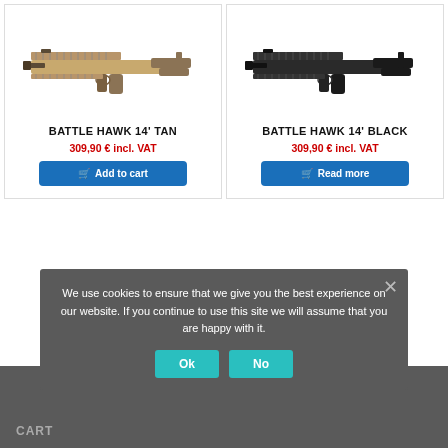[Figure (photo): Airsoft rifle Battle Hawk 14' Tan color, side view]
[Figure (photo): Airsoft rifle Battle Hawk 14' Black color, side view]
BATTLE HAWK 14' TAN
309,90 € incl. VAT
BATTLE HAWK 14' BLACK
309,90 € incl. VAT
We use cookies to ensure that we give you the best experience on our website. If you continue to use this site we will assume that you are happy with it.
CART